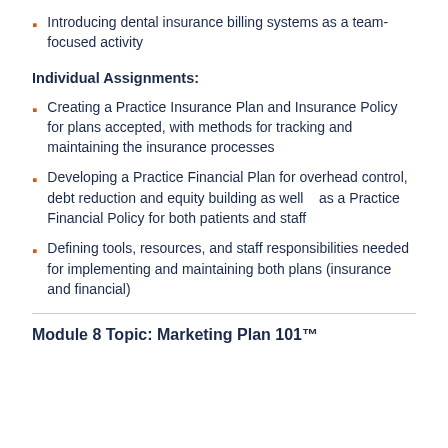Introducing dental insurance billing systems as a team-focused activity
Individual Assignments:
Creating a Practice Insurance Plan and Insurance Policy for plans accepted, with methods for tracking and maintaining the insurance processes
Developing a Practice Financial Plan for overhead control, debt reduction and equity building as well    as a Practice Financial Policy for both patients and staff
Defining tools, resources, and staff responsibilities needed for implementing and maintaining both plans (insurance and financial)
Module 8 Topic: Marketing Plan 101™